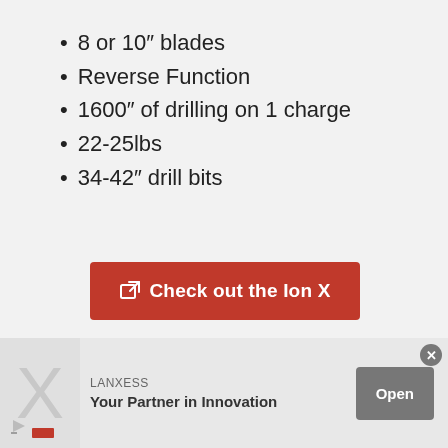8 or 10″ blades
Reverse Function
1600″ of drilling on 1 charge
22-25lbs
34-42″ drill bits
[Figure (other): Red CTA button with external link icon reading 'Check out the Ion X']
Easy and precise drilling with the ION X High Performance Electric Ice
[Figure (infographic): Advertisement banner for LANXESS: logo X, text 'Your Partner in Innovation', Open button]